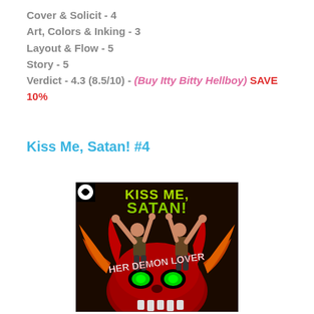Cover & Solicit - 4
Art, Colors & Inking - 3
Layout & Flow - 5
Story - 5
Verdict - 4.3 (8.5/10) - (Buy Itty Bitty Hellboy) SAVE 10%
Kiss Me, Satan! #4
[Figure (illustration): Comic book cover for Kiss Me, Satan! showing two figures with arms raised above a large demon skull with green eyes, with the text KISS ME SATAN! at the top and HER DEMON LOVER across the middle]